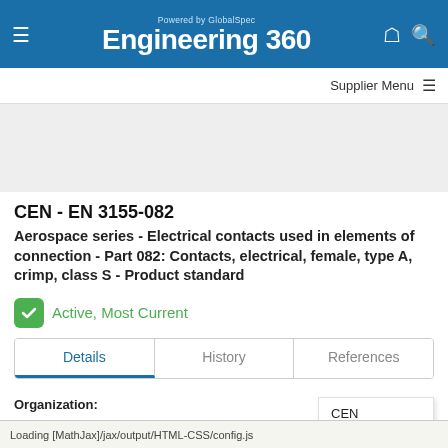Engineering 360 - Powered by GlobalSpec
Supplier Menu
[Figure (other): Gray advertisement/banner placeholder area]
CEN - EN 3155-082
Aerospace series - Electrical contacts used in elements of connection - Part 082: Contacts, electrical, female, type A, crimp, class S - Product standard
Active, Most Current
Details | History | References (tabs)
Organization: CEN
Publication Date: 1 June 2019
Loading [MathJax]/jax/output/HTML-CSS/config.js